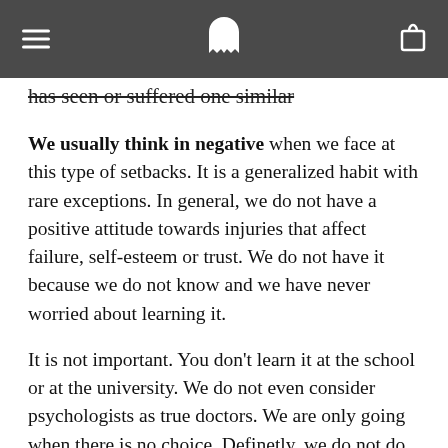[hamburger menu] [ghost/person logo] [bag icon]
has seen or suffered one similar
We usually think in negative when we face at this type of setbacks. It is a generalized habit with rare exceptions. In general, we do not have a positive attitude towards injuries that affect failure, self-esteem or trust. We do not have it because we do not know and we have never worried about learning it.
It is not important. You don't learn it at the school or at the university. We do not even consider psychologists as true doctors. We are only going when there is no choice. Definetly, we do not do that with a caries and the dentist.
Changing our answers to these mental aggressions makes us strengthen our emotional